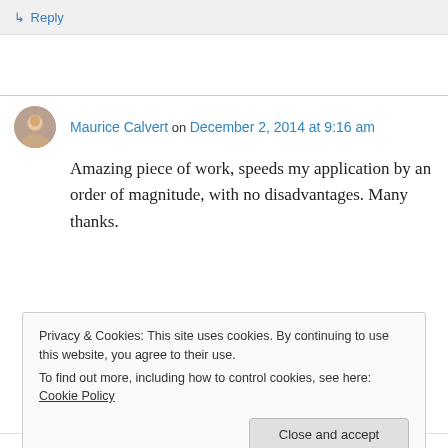↳ Reply
Maurice Calvert on December 2, 2014 at 9:16 am
Amazing piece of work, speeds my application by an order of magnitude, with no disadvantages. Many thanks.
Privacy & Cookies: This site uses cookies. By continuing to use this website, you agree to their use.
To find out more, including how to control cookies, see here: Cookie Policy